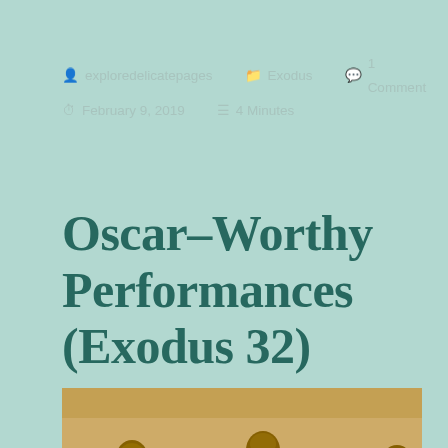exploredelicatepages  Exodus  1 Comment  February 9, 2019  4 Minutes
Oscar–Worthy Performances (Exodus 32)
[Figure (photo): Photograph of multiple golden Oscar statuettes standing in a row, shot from a low angle with bokeh background]